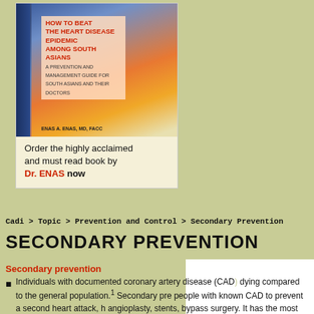[Figure (photo): Book cover of 'How to Beat the Heart Disease Epidemic Among South Asians' with order prompt]
Order the highly acclaimed and must read book by Dr. ENAS now
Cadi > Topic > Prevention and Control > Secondary Prevention
SECONDARY PREVENTION
Secondary prevention
Individuals with documented coronary artery disease (CAD) dying compared to the general population.1 Secondary pre... people with known CAD to prevent a second heart attack, h angioplasty, stents, bypass surgery. It has the most rapid i... which is far more common in this population.2,3